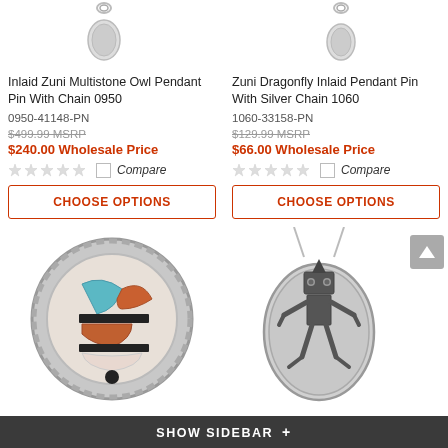[Figure (photo): Inlaid Zuni Multistone Owl Pendant Pin With Chain 0950 - partial top of jewelry item visible]
Inlaid Zuni Multistone Owl Pendant Pin With Chain 0950
0950-41148-PN
$499.99 MSRP
$240.00 Wholesale Price
Compare
CHOOSE OPTIONS
[Figure (photo): Zuni Dragonfly Inlaid Pendant Pin With Silver Chain 1060 - partial top of jewelry item visible]
Zuni Dragonfly Inlaid Pendant Pin With Silver Chain 1060
1060-33158-PN
$129.99 MSRP
$66.00 Wholesale Price
Compare
CHOOSE OPTIONS
[Figure (photo): Round inlaid multistone Zuni jewelry piece with turquoise, coral, and black stone in silver setting]
[Figure (photo): Oval silver pendant with Kachina figure engraving on silver chain]
SHOW SIDEBAR +